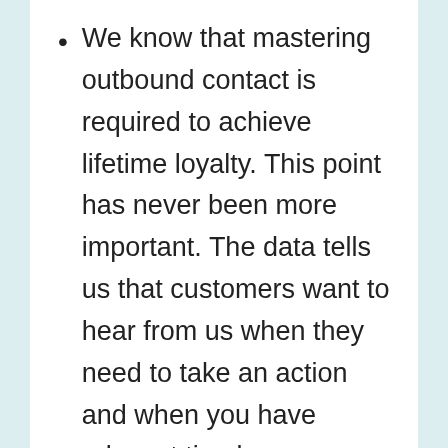We know that mastering outbound contact is required to achieve lifetime loyalty.  This point has never been more important. The data tells us that customers want to hear from us when they need to take an action and when you have relevant timely information to share. That means they want to hear from you before they incur a late fee, for example.  They also want to hear from you when their flight has changed or if you have relevant information to share about a product or service they use...